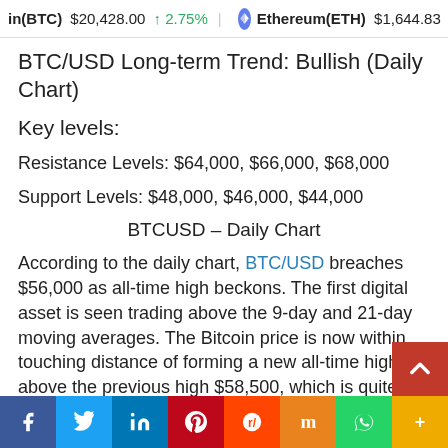Bitcoin(BTC) $20,428.00 ↑ 2.75%   Ethereum(ETH) $1,644.83 ↑ 6.58%
BTC/USD Long-term Trend: Bullish (Daily Chart)
Key levels:
Resistance Levels: $64,000, $66,000, $68,000
Support Levels: $48,000, $46,000, $44,000
BTCUSD – Daily Chart
According to the daily chart, BTC/USD breaches $56,000 as all-time high beckons. The first digital asset is seen trading above the 9-day and 21-day moving averages. The Bitcoin price is now within touching distance of forming a new all-time high above the previous high $58,500, which is quite remarkable conside...
Facebook  Twitter  LinkedIn  Pinterest  Reddit  Mix  WhatsApp  More